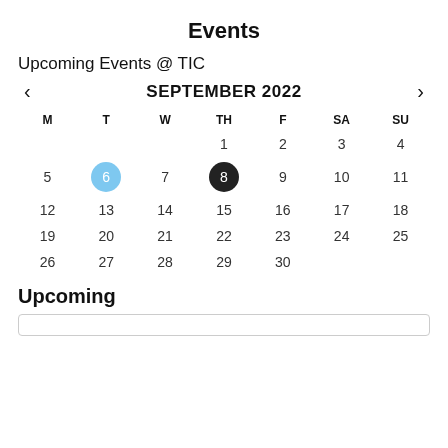Events
Upcoming Events @ TIC
[Figure (other): Calendar widget showing September 2022 with navigation arrows. Day 6 highlighted in blue circle, day 8 highlighted in black circle. Days of week headers: M, T, W, TH, F, SA, SU.]
Upcoming